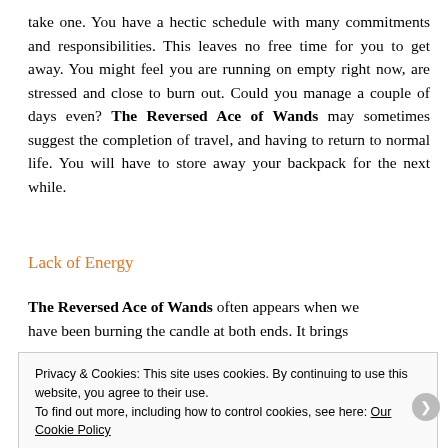take one. You have a hectic schedule with many commitments and responsibilities. This leaves no free time for you to get away. You might feel you are running on empty right now, are stressed and close to burn out. Could you manage a couple of days even? The Reversed Ace of Wands may sometimes suggest the completion of travel, and having to return to normal life. You will have to store away your backpack for the next while.
Lack of Energy
The Reversed Ace of Wands often appears when we have been burning the candle at both ends. It brings...
Privacy & Cookies: This site uses cookies. By continuing to use this website, you agree to their use.
To find out more, including how to control cookies, see here: Our Cookie Policy